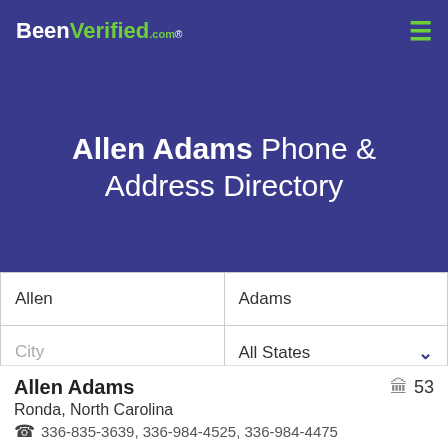BeenVerified.com
Allen Adams Phone & Address Directory
Allen | Adams | City | All States | SEARCH
Allen Adams
Ronda, North Carolina
336-835-3639, 336-984-4525, 336-984-4475